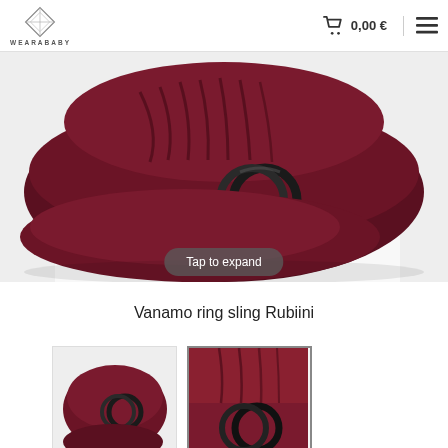WEARABABY  🛒 0,00 € ☰
[Figure (photo): Close-up photo of a folded dark burgundy/ruby ring sling with black metal rings, placed on a white background.]
Tap to expand
Vanamo ring sling Rubiini
[Figure (photo): Small thumbnail of the Vanamo ring sling Rubiini showing the full folded product with rings.]
[Figure (photo): Small thumbnail of the Vanamo ring sling Rubiini showing a close-up of the fabric and rings, currently selected.]